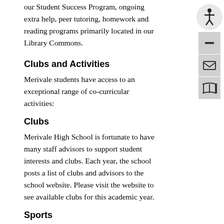our Student Success Program, ongoing extra help, peer tutoring, homework and reading programs primarily located in our Library Commons.
Clubs and Activities
Merivale students have access to an exceptional range of co-curricular activities:
Clubs
Merivale High School is fortunate to have many staff advisors to support student interests and clubs. Each year, the school posts a list of clubs and advisors to the school website. Please visit the website to see available clubs for this academic year.
Sports
Merivale High School offers three seasons of athletics for